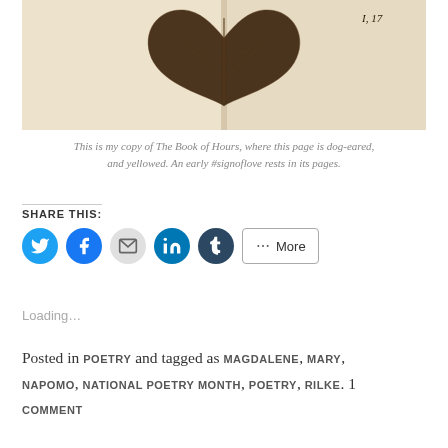[Figure (photo): A heart-shaped dried leaf resting on the open pages of a book (The Book of Hours), with 'I, 17' printed on the right page.]
This is my copy of The Book of Hours, where this page is dog-eared, and yellowed. An early #signoflove rests in its pages.
SHARE THIS:
[Figure (infographic): Social sharing buttons: Twitter (blue circle), Facebook (blue circle), Email (grey circle), LinkedIn (teal circle), Tumblr (dark blue circle), and a More button.]
Loading...
Posted in POETRY and tagged as MAGDALENE, MARY, NAPOMO, NATIONAL POETRY MONTH, POETRY, RILKE. 1 COMMENT